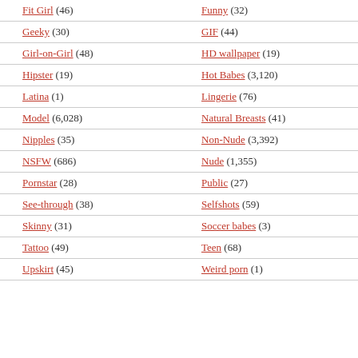Fit Girl (46)
Funny (32)
Geeky (30)
GIF (44)
Girl-on-Girl (48)
HD wallpaper (19)
Hipster (19)
Hot Babes (3,120)
Latina (1)
Lingerie (76)
Model (6,028)
Natural Breasts (41)
Nipples (35)
Non-Nude (3,392)
NSFW (686)
Nude (1,355)
Pornstar (28)
Public (27)
See-through (38)
Selfshots (59)
Skinny (31)
Soccer babes (3)
Tattoo (49)
Teen (68)
Upskirt (45)
Weird porn (1)